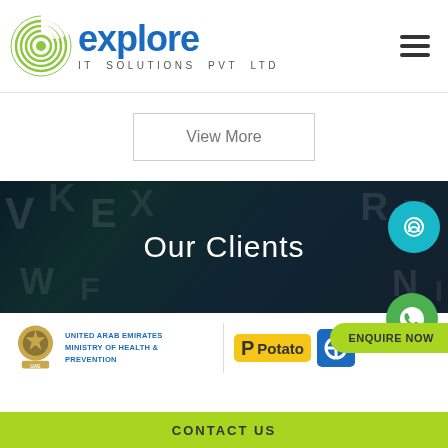[Figure (logo): Explore IT Solutions Pvt Ltd logo with fingerprint icon and company name in blue]
View More
[Figure (photo): Our Clients banner section with dark overlay on a word/letter collage background]
[Figure (logo): United Arab Emirates Ministry of Health & Prevention logo]
[Figure (logo): Potato logo in yellow/amber rounded rectangle]
[Figure (logo): Blue logo partially visible on right]
ENQUIRE NOW
CONTACT US